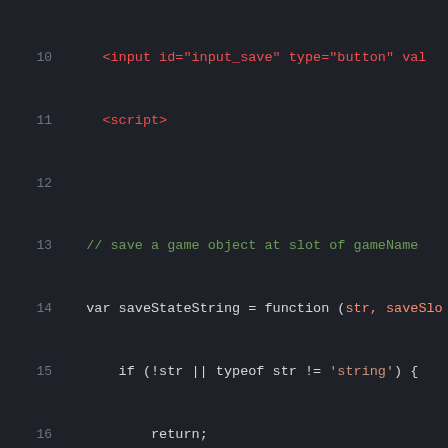[Figure (screenshot): Code editor screenshot showing JavaScript source code with line numbers 10-29 on a dark background. Lines show HTML script tag, JavaScript function definitions for saveStateString and loadState, with syntax highlighting in orange/red for strings and parameters, green for comments, and light gray for regular code.]